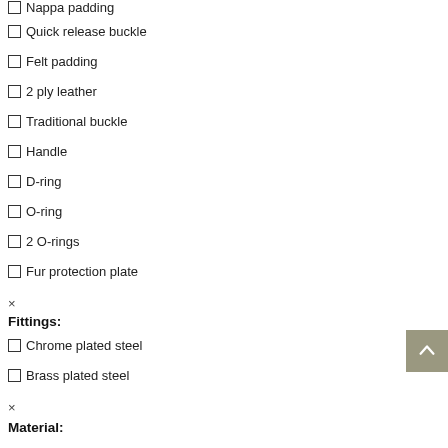Nappa padding
Quick release buckle
Felt padding
2 ply leather
Traditional buckle
Handle
D-ring
O-ring
2 O-rings
Fur protection plate
×
Fittings:
Chrome plated steel
Brass plated steel
×
Material: